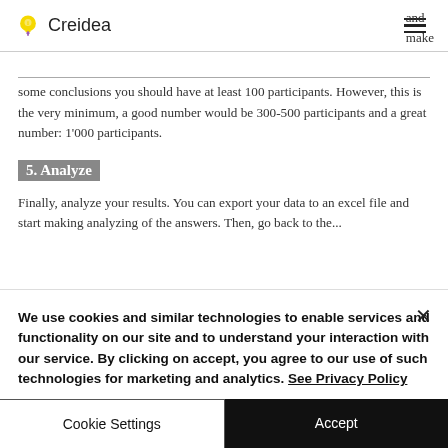Creidea
and make
some conclusions you should have at least 100 participants. However, this is the very minimum, a good number would be 300-500 participants and a great number: 1'000 participants.
5. Analyze
Finally, analyze your results. You can export your data to an excel file and start making analyzing of the answers. Then, go back to the...
We use cookies and similar technologies to enable services and functionality on our site and to understand your interaction with our service. By clicking on accept, you agree to our use of such technologies for marketing and analytics. See Privacy Policy